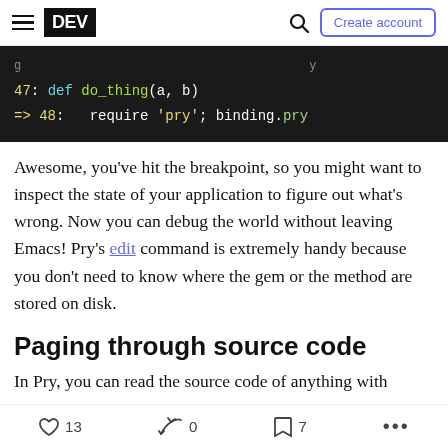DEV | Create account
[Figure (screenshot): Dark code editor screenshot showing Ruby code: line 47 'def do_thing(a, b)' and line 48 with arrow '=> 48: require pry; binding.pry']
Awesome, you've hit the breakpoint, so you might want to inspect the state of your application to figure out what's wrong. Now you can debug the world without leaving Emacs! Pry's edit command is extremely handy because you don't need to know where the gem or the method are stored on disk.
Paging through source code
In Pry, you can read the source code of anything with
13  0  7  ...